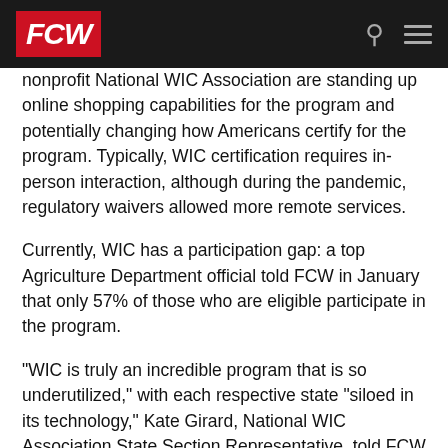FCW
nonprofit National WIC Association are standing up online shopping capabilities for the program and potentially changing how Americans certify for the program. Typically, WIC certification requires in-person interaction, although during the pandemic, regulatory waivers allowed more remote services.
Currently, WIC has a participation gap: a top Agriculture Department official told FCW in January that only 57% of those who are eligible participate in the program.
"WIC is truly an incredible program that is so underutilized," with each respective state "siloed in its technology," Kate Girard, National WIC Association State Section Representative, told FCW in an emailed statement. Girard also serves as the Montana State WIC Director. "Projects like this help us remove barriers to entry."
This isn't Nava's first engagement with the WIC program. It formed a "WIC Technology Resource Group" with the National WIC